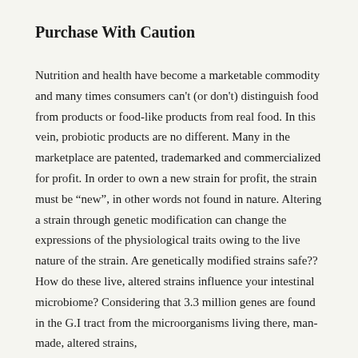Purchase With Caution
Nutrition and health have become a marketable commodity and many times consumers can't (or don't) distinguish food from products or food-like products from real food. In this vein, probiotic products are no different. Many in the marketplace are patented, trademarked and commercialized for profit. In order to own a new strain for profit, the strain must be “new", in other words not found in nature. Altering a strain through genetic modification can change the expressions of the physiological traits owing to the live nature of the strain. Are genetically modified strains safe?? How do these live, altered strains influence your intestinal microbiome? Considering that 3.3 million genes are found in the G.I tract from the microorganisms living there, man-made, altered strains,